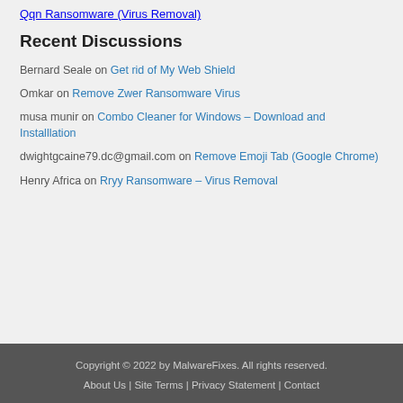Qqn Ransomware (Virus Removal)
Recent Discussions
Bernard Seale on Get rid of My Web Shield
Omkar on Remove Zwer Ransomware Virus
musa munir on Combo Cleaner for Windows – Download and Installlation
dwightgcaine79.dc@gmail.com on Remove Emoji Tab (Google Chrome)
Henry Africa on Rryy Ransomware – Virus Removal
Copyright © 2022 by MalwareFixes. All rights reserved. About Us | Site Terms | Privacy Statement | Contact